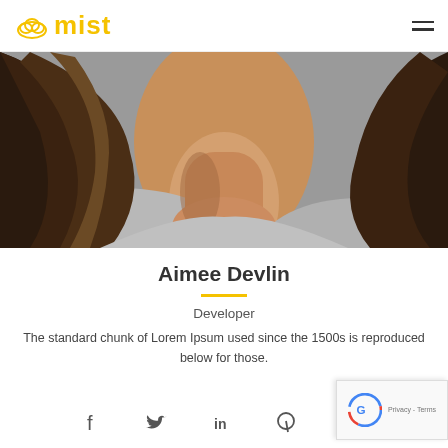mist
[Figure (photo): Close-up portrait photo of a woman with dark wavy hair, showing her neck and shoulder in a gray top, gray background.]
Aimee Devlin
Developer
The standard chunk of Lorem Ipsum used since the 1500s is reproduced below for those.
[Figure (other): Social media icons: Facebook, Twitter, LinkedIn, Pinterest]